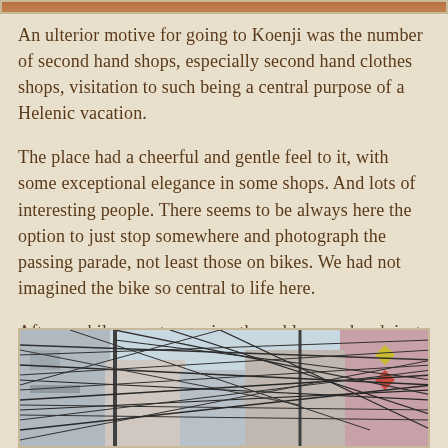[Figure (photo): Top partial image bar showing brownish-orange tones, appears to be the bottom edge of a photo above]
An ulterior motive for going to Koenji was the number of second hand shops, especially second hand clothes shops, visitation to such being a central purpose of a Helenic vacation.
The place had a cheerful and gentle feel to it, with some exceptional elegance in some shops. And lots of interesting people. There seems to be always here the option to just stop somewhere and photograph the passing parade, not least those on bikes. We had not imagined the bike so central to life here.
After a while you stop seeing the cables overhead, just as one seems no longer to see the progressive enthrottlement of our homes by cables, connections, chargers ...
[Figure (photo): Street-level photograph looking up at tangled overhead cables and utility wires between buildings; buildings visible on sides, light sky background, colorful diamond shapes visible on right building wall]